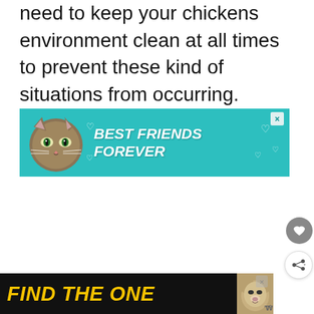need to keep your chickens environment clean at all times to prevent these kind of situations from occurring.
[Figure (screenshot): Advertisement banner with teal/green background showing a cat face and text 'BEST FRIENDS FOREVER' with hearts, close button (×) in corner]
[Figure (screenshot): Advertisement banner with black/dark background showing text 'FIND THE ONE' in yellow bold italic text, with a dog image and close button]